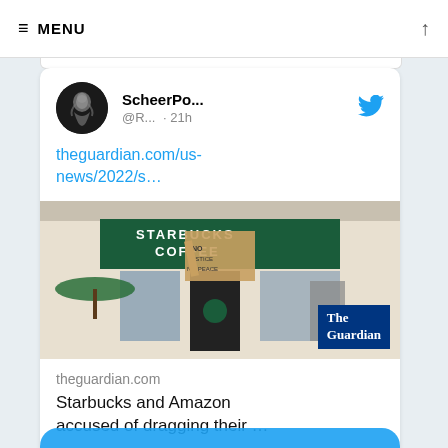≡ MENU
[Figure (screenshot): Tweet card from ScheerPo... @R... · 21h with Twitter bird icon, linking to theguardian.com/us-news/2022/s..., showing a Starbucks Coffee store protest image with The Guardian logo overlay, article title 'Starbucks and Amazon accused of dragging their ...', and comment/like icons]
theguardian.com/us-news/2022/s...
theguardian.com
Starbucks and Amazon accused of dragging their ...